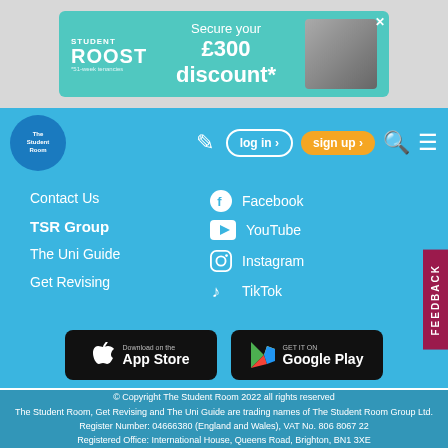[Figure (screenshot): Student Roost advertisement banner: 'Secure your £300 discount*' with teal background and property photo]
[Figure (screenshot): The Student Room navigation bar with logo, edit icon, log in button, sign up button (orange), search icon, and menu icon]
Contact Us
TSR Group
The Uni Guide
Get Revising
Facebook
YouTube
Instagram
TikTok
[Figure (logo): Download on the App Store button (black)]
[Figure (logo): Get it on Google Play button (black)]
[Figure (other): FEEDBACK vertical tab on right side (dark red/magenta)]
© Copyright The Student Room 2022 all rights reserved
The Student Room, Get Revising and The Uni Guide are trading names of The Student Room Group Ltd.
Register Number: 04666380 (England and Wales), VAT No. 806 8067 22
Registered Office: International House, Queens Road, Brighton, BN1 3XE